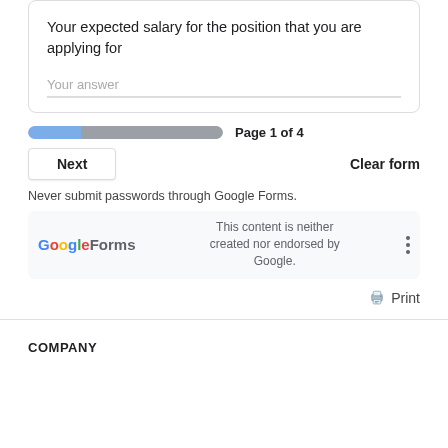Your expected salary for the position that you are applying for
Your answer
Page 1 of 4
Next
Clear form
Never submit passwords through Google Forms.
This content is neither created nor endorsed by Google.
Print
COMPANY